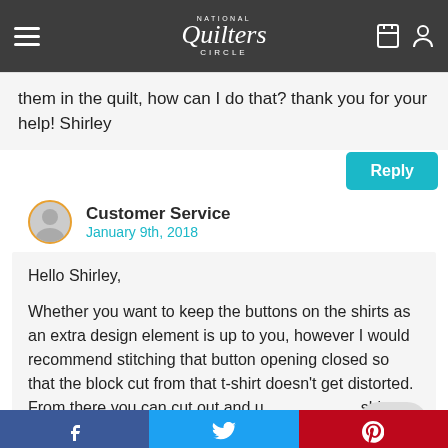National Quilters Circle
them in the quilt, how can I do that? thank you for your help! Shirley
Reply
Customer Service
January 9th, 2018
Hello Shirley,

Whether you want to keep the buttons on the shirts as an extra design element is up to you, however I would recommend stitching that button opening closed so that the block cut from that t-shirt doesn't get distorted. From there you can cut out and use the button shirt blocks just like any other t-shirt block.
f  Twitter  p